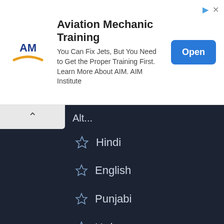[Figure (infographic): Advertisement banner for Aviation Mechanic Training by AIM Institute. Contains AIM logo, title text, body text, and an Open button.]
Hindi
English
Punjabi
Urdu
SMS
Most Viewed
Love Shayari
Broken Shayari